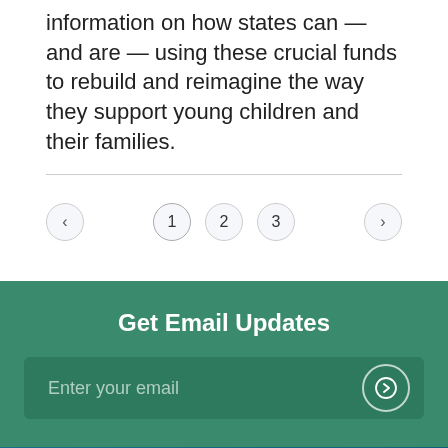information on how states can — and are — using these crucial funds to rebuild and reimagine the way they support young children and their families.
[Figure (other): Pagination controls showing left arrow, page numbers 1 2 3, and right arrow]
Get Email Updates
Enter your email
[Figure (logo): Build logo text partially visible on teal/dark blue background]